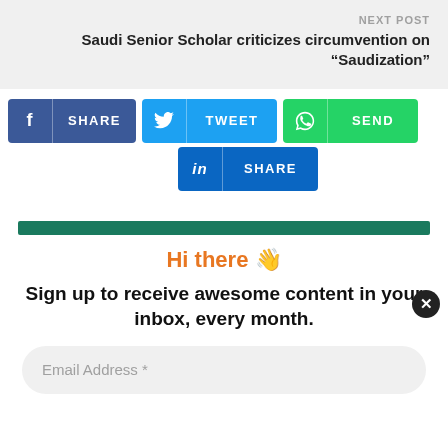NEXT POST
Saudi Senior Scholar criticizes circumvention on “Saudization”
[Figure (infographic): Social share buttons: Facebook SHARE, Twitter TWEET, WhatsApp SEND, LinkedIn SHARE]
[Figure (infographic): Green banner bar at top of popup overlay]
Hi there 👋
Sign up to receive awesome content in your inbox, every month.
Email Address *